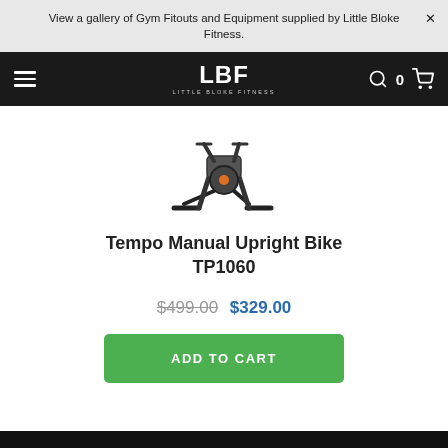View a gallery of Gym Fitouts and Equipment supplied by Little Bloke Fitness.
[Figure (logo): LBF Little Bloke Fitness logo on dark navigation bar]
[Figure (photo): Tempo Manual Upright Bike TP1060 product image]
Tempo Manual Upright Bike TP1060
$499.00 $329.00
ADD TO CART
ADDRESS
TRADING HOURS